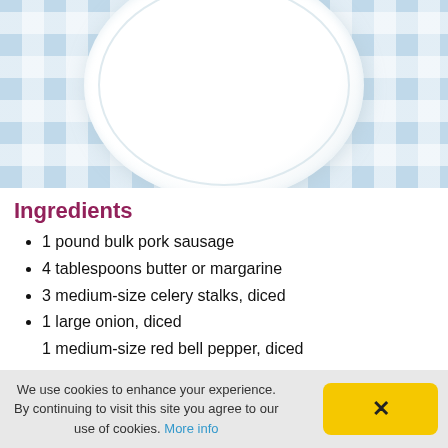[Figure (photo): White decorative plate on a blue-and-white checkered tablecloth, photographed from above.]
Ingredients
1 pound bulk pork sausage
4 tablespoons butter or margarine
3 medium-size celery stalks, diced
1 large onion, diced
1 medium-size red bell pepper, diced
We use cookies to enhance your experience. By continuing to visit this site you agree to our use of cookies. More info